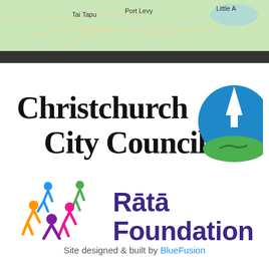[Figure (map): Partial map showing Tai Tapu, Port Levy, and Little A labels on a green terrain background]
[Figure (logo): Christchurch City Council logo with text and cathedral/river icon in blue and green circle]
[Figure (logo): Rata Foundation logo with colorful people figures and purple text]
Site designed & built by BlueFusion